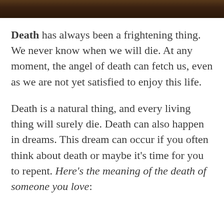[Figure (photo): Dark brownish photographic image banner at the top of the page]
Death has always been a frightening thing. We never know when we will die. At any moment, the angel of death can fetch us, even as we are not yet satisfied to enjoy this life.
Death is a natural thing, and every living thing will surely die. Death can also happen in dreams. This dream can occur if you often think about death or maybe it’s time for you to repent. Here’s the meaning of the death of someone you love: